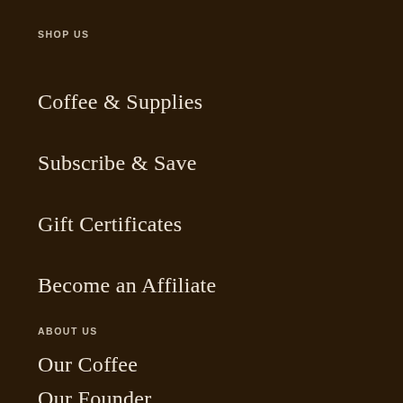SHOP US
Coffee & Supplies
Subscribe & Save
Gift Certificates
Become an Affiliate
ABOUT US
Our Coffee
Our Founder